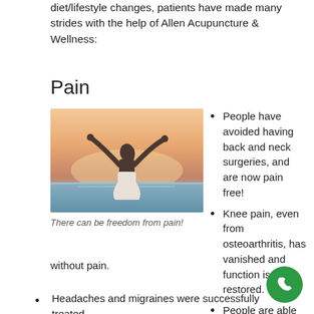diet/lifestyle changes, patients have made many strides with the help of Allen Acupuncture & Wellness:
Pain
[Figure (photo): Woman in white dress standing with arms outstretched against a sunset sky over the ocean, viewed from behind]
There can be freedom from pain!
People have avoided having back and neck surgeries, and are now pain free!
Knee pain, even from osteoarthritis, has vanished and function is restored.
People are able to go to work and function better without pain.
Headaches and migraines were successfully treated